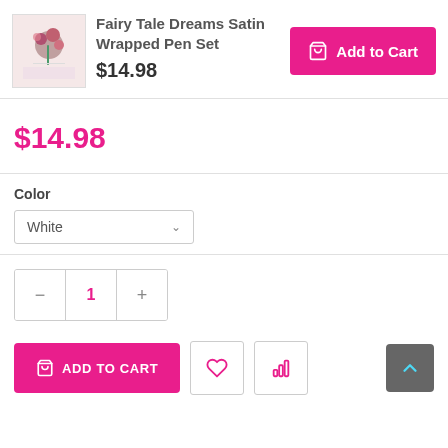[Figure (photo): Product thumbnail of Fairy Tale Dreams Satin Wrapped Pen Set with flowers]
Fairy Tale Dreams Satin Wrapped Pen Set
$14.98
Add to Cart (button)
$14.98
Color
White
1 (quantity)
ADD TO CART